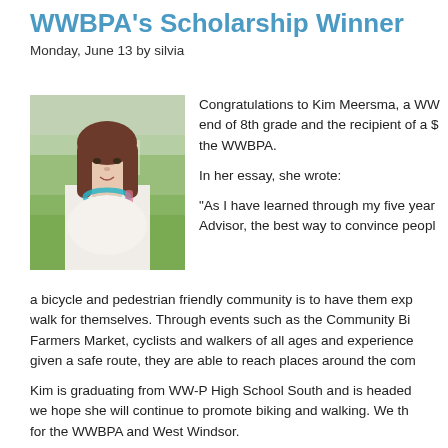WWBPA's Scholarship Winner
Monday, June 13 by silvia
[Figure (photo): Portrait photo of a young woman with long brown hair wearing a white top and teal necklace, standing outdoors with green grass and trees in background.]
Congratulations to Kim Meersma, a WW... end of 8th grade and the recipient of a $... the WWBPA.

In her essay, she wrote:

“As I have learned through my five year... Advisor, the best way to convince peopl... a bicycle and pedestrian friendly community is to have them exp... walk for themselves. Through events such as the Community Bi... Farmers Market, cyclists and walkers of all ages and experience... given a safe route, they are able to reach places around the com...
Kim is graduating from WW-P High School South and is headed... we hope she will continue to promote biking and walking. We th... for the WWBPA and West Windsor.